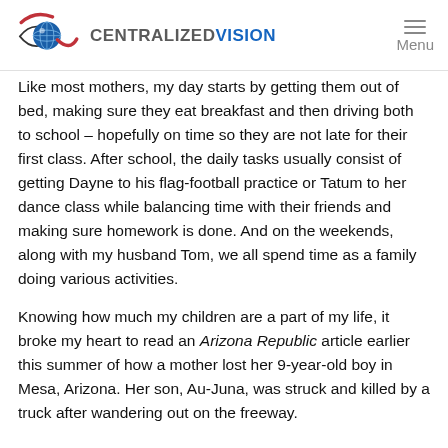CENTRALIZEDVISION | Menu
Like most mothers, my day starts by getting them out of bed, making sure they eat breakfast and then driving both to school – hopefully on time so they are not late for their first class. After school, the daily tasks usually consist of getting Dayne to his flag-football practice or Tatum to her dance class while balancing time with their friends and making sure homework is done. And on the weekends, along with my husband Tom, we all spend time as a family doing various activities.
Knowing how much my children are a part of my life, it broke my heart to read an Arizona Republic article earlier this summer of how a mother lost her 9-year-old boy in Mesa, Arizona. Her son, Au-Juna, was struck and killed by a truck after wandering out on the freeway.